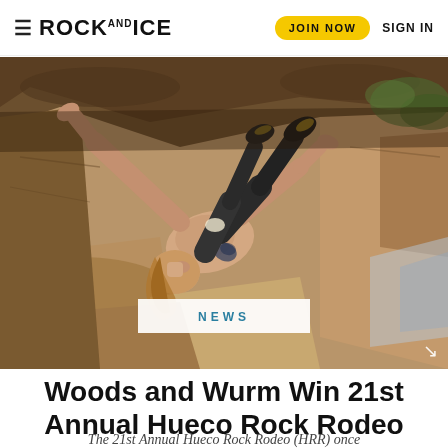≡ ROCK AND ICE | JOIN NOW | SIGN IN
[Figure (photo): A shirtless male rock climber with long blond hair bouldering on an overhanging rock face, holding the roof of a boulder with both hands, wearing dark pants and climbing shoes. The background shows warm sandstone rocks and some foliage.]
NEWS
Woods and Wurm Win 21st Annual Hueco Rock Rodeo
The 21st Annual Hueco Rock Rodeo (HRR) once